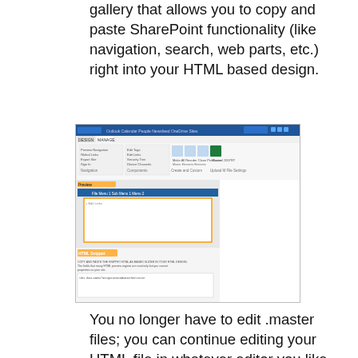gallery that allows you to copy and paste SharePoint functionality (like navigation, search, web parts, etc.) right into your HTML based design.
[Figure (screenshot): Screenshot of SharePoint Design Manager interface showing Top Navigation component customization panel with HTML snippet code and customization options.]
You no longer have to edit .master files; you can continue editing your HTML file in whatever editor you like and every time you hit save SharePoint will notice the changes and update the corresponding .master file.
Does this mean that SharePoint branding is so